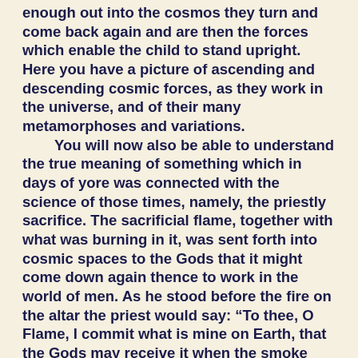enough out into the cosmos they turn and come back again and are then the forces which enable the child to stand upright. Here you have a picture of ascending and descending cosmic forces, as they work in the universe, and of their many metamorphoses and variations.
    You will now also be able to understand the true meaning of something which in days of yore was connected with the science of those times, namely, the priestly sacrifice. The sacrificial flame, together with what was burning in it, was sent forth into cosmic spaces to the Gods that it might come down again thence to work in the world of men. As he stood before the fire on the altar the priest would say: “To thee, O Flame, I commit what is mine on Earth, that the Gods may receive it when the smoke rises upward. May that which is borne upward by the Flame be changed into divine blessing and pour down again to Earth as creative and fructifying power!”
    Thus, as we listen to the words of the priest of olden time, who is speaking of supersensible worlds, we may